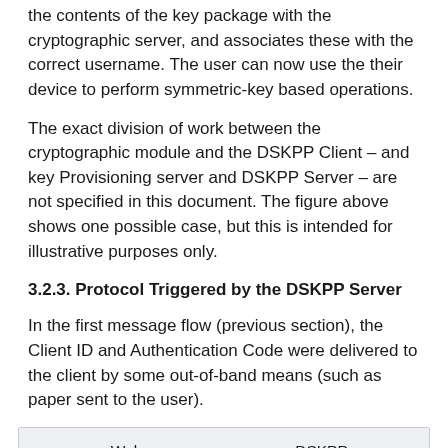the contents of the key package with the cryptographic server, and associates these with the correct username. The user can now use the their device to perform symmetric-key based operations.
The exact division of work between the cryptographic module and the DSKPP Client – and key Provisioning server and DSKPP Server – are not specified in this document. The figure above shows one possible case, but this is intended for illustrative purposes only.
3.2.3. Protocol Triggered by the DSKPP Server
In the first message flow (previous section), the Client ID and Authentication Code were delivered to the client by some out-of-band means (such as paper sent to the user).
[Figure (other): Diagram box showing columns: Web / DSKPP (top row), DSKPP / Web (second row), Browser / Client (third row) — partial diagram cut off at bottom]